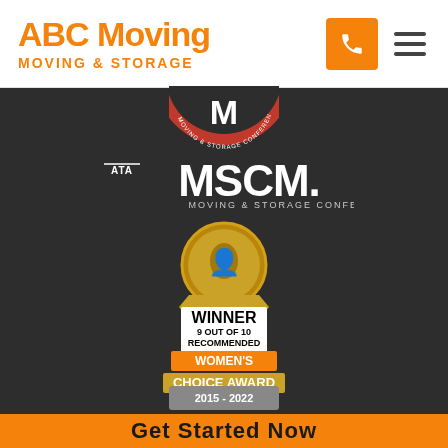[Figure (logo): ABC Moving Moving & Storage logo in orange with phone icon button and hamburger menu]
[Figure (logo): ATA MSCM Moving & Storage Conference circular badge logo (partially visible at top)]
[Figure (logo): ATA MSCM Moving & Storage Conference text logo]
[Figure (logo): Women's Choice Award badge - WINNER 9 OUT OF 10 RECOMMENDED, 2015-2022]
Get Started Now